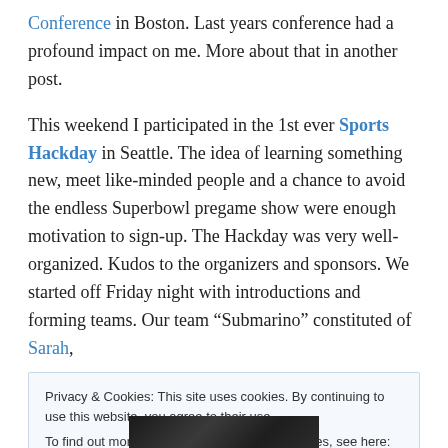Conference in Boston. Last years conference had a profound impact on me. More about that in another post.
This weekend I participated in the 1st ever Sports Hackday in Seattle. The idea of learning something new, meet like-minded people and a chance to avoid the endless Superbowl pregame show were enough motivation to sign-up. The Hackday was very well-organized. Kudos to the organizers and sponsors. We started off Friday night with introductions and forming teams. Our team “Submarino” constituted of Sarah,
Privacy & Cookies: This site uses cookies. By continuing to use this website, you agree to their use.
To find out more, including how to control cookies, see here: Cookie Policy
[Figure (photo): Bottom portion of a photograph, dark tones, partially visible]